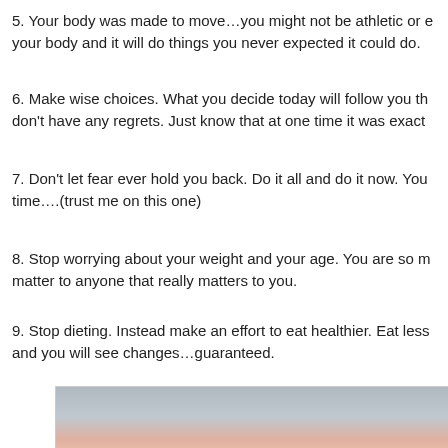5. Your body was made to move…you might not be athletic or e your body and it will do things you never expected it could do.
6. Make wise choices. What you decide today will follow you th don't have any regrets. Just know that at one time it was exact
7. Don't let fear ever hold you back. Do it all and do it now. You time….(trust me on this one)
8. Stop worrying about your weight and your age. You are so m matter to anyone that really matters to you.
9. Stop dieting. Instead make an effort to eat healthier. Eat less and you will see changes…guaranteed.
10. Eat cake...lots of it. And it doesn't always have to be choco love this Cherry Vanilla Layer Cake.
[Figure (photo): A slice of Cherry Vanilla Layer Cake with pink frosting on a light background]